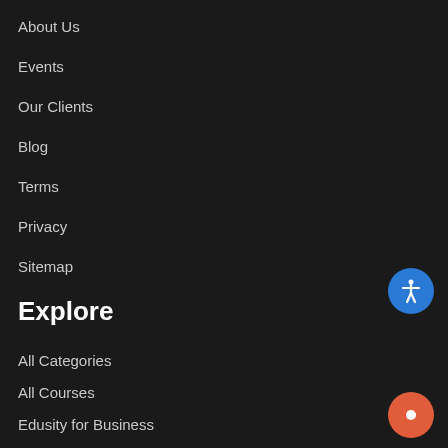About Us
Events
Our Clients
Blog
Terms
Privacy
Sitemap
Explore
All Categories
All Courses
Edusity for Business
For Corporate Training
For Post-Secondary Learning